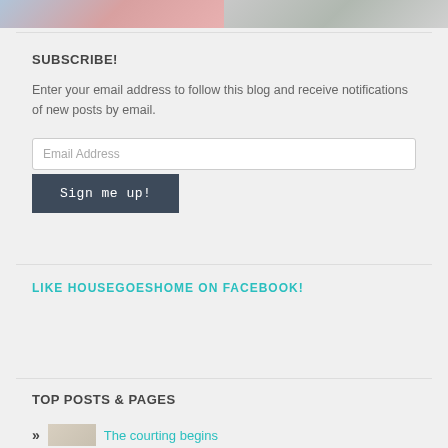[Figure (photo): Two cropped photos at the top: left shows a person, right shows a rocky or outdoor scene]
SUBSCRIBE!
Enter your email address to follow this blog and receive notifications of new posts by email.
Email Address
Sign me up!
LIKE HOUSEGOESHOME ON FACEBOOK!
TOP POSTS & PAGES
The courting begins